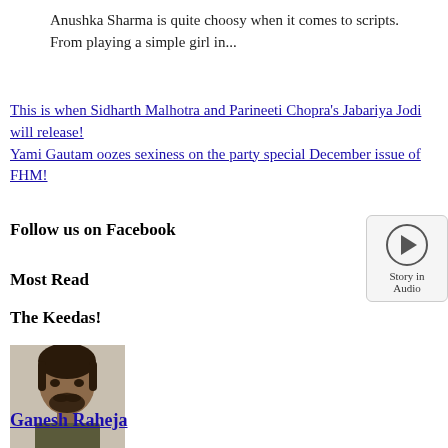Anushka Sharma is quite choosy when it comes to scripts. From playing a simple girl in...
This is when Sidharth Malhotra and Parineeti Chopra’s Jabariya Jodi will release!
Yami Gautam oozes sexiness on the party special December issue of FHM!
Follow us on Facebook
[Figure (other): Audio play button widget with text 'Story in Audio']
Most Read
The Keedas!
[Figure (photo): Photo of a young man with dark hair and beard, against a textured background]
Ganesh Raheja